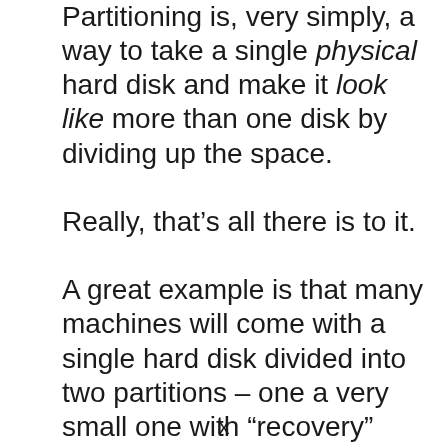Partitioning is, very simply, a way to take a single physical hard disk and make it look like more than one disk by dividing up the space.

Really, that’s all there is to it.

A great example is that many machines will come with a single hard disk divided into two partitions – one a very small one with “recovery”
x